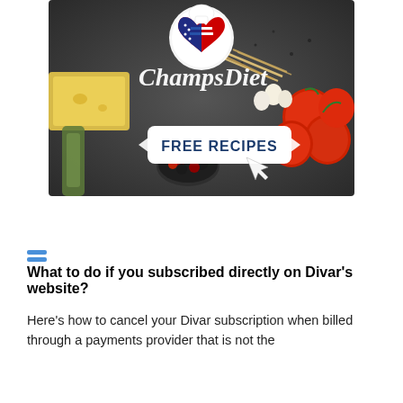[Figure (illustration): ChampsDiet banner advertisement showing food ingredients (tomatoes, cheese, pasta, olive oil, berries, herbs) on a dark background with the ChampsDiet logo (American flag heart) at top and a 'FREE RECIPES' button with arrows pointing to it and a cursor icon.]
What to do if you subscribed directly on Divar's website?
Here's how to cancel your Divar subscription when billed through a payments provider that is not the